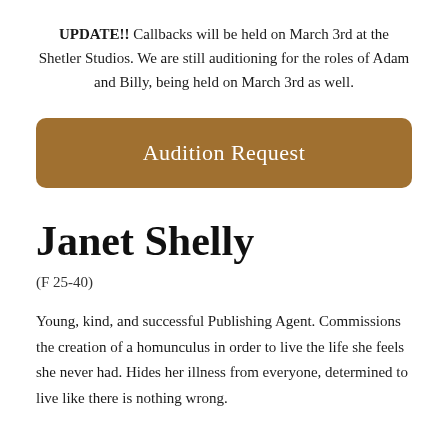UPDATE!!  Callbacks will be held on March 3rd at the Shetler Studios. We are still auditioning for the roles of Adam and Billy, being held on March 3rd as well.
Audition Request
Janet Shelly
(F 25-40)
Young, kind, and successful Publishing Agent. Commissions the creation of a homunculus in order to live the life she feels she never had. Hides her illness from everyone, determined to live like there is nothing wrong.